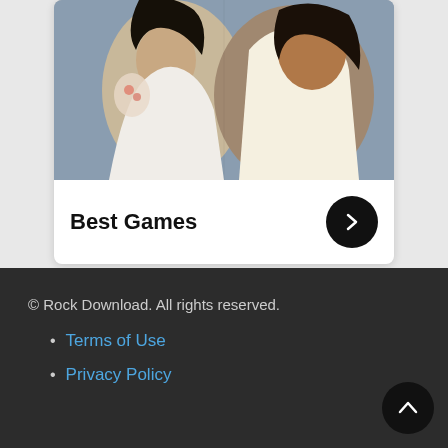[Figure (illustration): Two 3D rendered women in white tops against a grayish background, shown from waist up]
Best Games
© Rock Download. All rights reserved.
Terms of Use
Privacy Policy